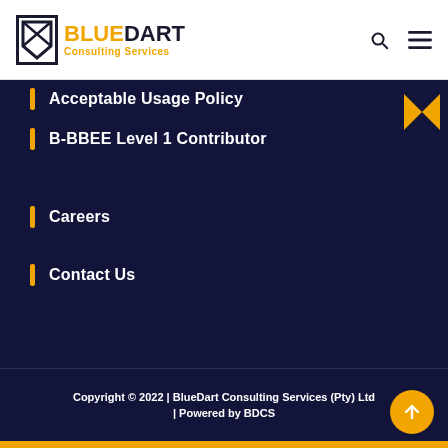BlueDart Consulting Services
Acceptable Usage Policy
B-BBEE Level 1 Contributor
Careers
Contact Us
Copyright © 2022 | BlueDart Consulting Services (Pty) Ltd | Powered by BDCS